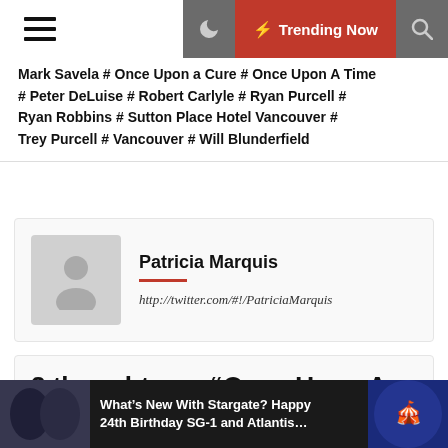Trending Now
Mark Savela # Once Upon a Cure # Once Upon A Time # Peter DeLuise # Robert Carlyle # Ryan Purcell # Ryan Robbins # Sutton Place Hotel Vancouver # Trey Purcell # Vancouver # Will Blunderfield
Patricia Marquis
http://twitter.com/#!/PatriciaMarquis
3 thoughts on “Once Upon A Cure: A Sci-Fi Fan’s Journey Through The Looking Glass”
What’s New With Stargate? Happy 24th Birthday SG-1 and Atlantis…